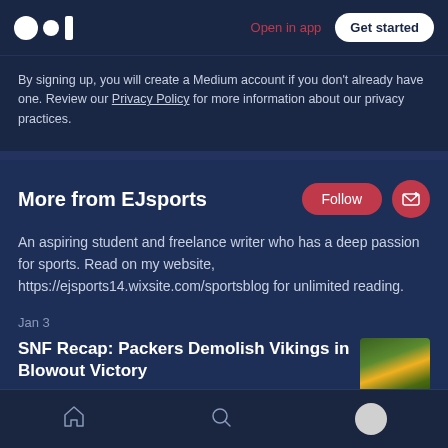[Figure (logo): Medium logo — two white circles and a white bar]
Open in app
Get started
By signing up, you will create a Medium account if you don't already have one. Review our Privacy Policy for more information about our privacy practices.
More from EJsports
Follow
An aspiring student and freelance writer who has a deep passion for sports. Read on my website, https://ejsports14.wixsite.com/sportsblog for unlimited reading.
Jan 3
SNF Recap: Packers Demolish Vikings in Blowout Victory